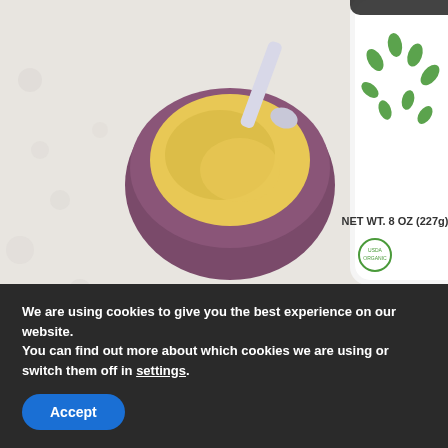[Figure (photo): Overhead shot of an organic baby food product (white jar with green leaf design, NET WT. 8 OZ (227g) label, USDA Organic seal) next to a small purple/mauve bowl containing yellow puree being scooped with a white silicone spoon, on a white textured background.]
Before that new mom knows it, months will have passed by and she will be reading all of the articles on
We are using cookies to give you the best experience on our website.
You can find out more about which cookies we are using or switch them off in settings.